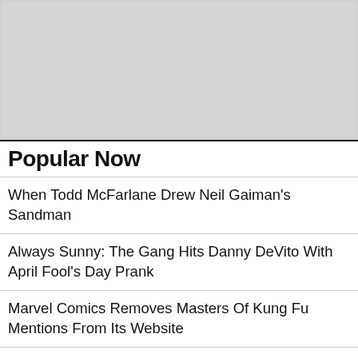[Figure (other): Gray placeholder image area at the top of the page]
Popular Now
When Todd McFarlane Drew Neil Gaiman's Sandman
Always Sunny: The Gang Hits Danny DeVito With April Fool's Day Prank
Marvel Comics Removes Masters Of Kung Fu Mentions From Its Website
Comic Book Folk React To... Student Loan Forgiveness
Superman & Lois: Alex Garfin Clears Up Jonathan Kent Recasting Rumors
Todd McFarlane's Sandman in The Daily LITG, 29th August 2022
Megan Thee Stallion's "Marvel Stuff" Appears to Include